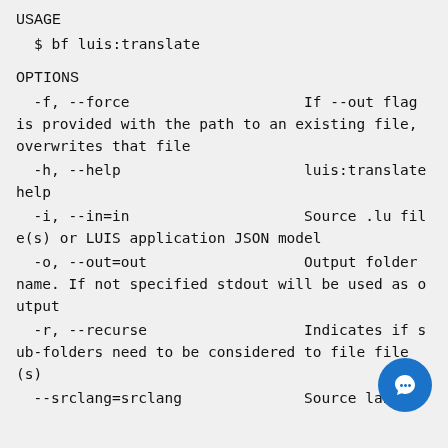USAGE
$ bf luis:translate
OPTIONS
-f, --force                    If --out flag is provided with the path to an existing file, overwrites that file
-h, --help                     luis:translate help
-i, --in=in                    Source .lu file(s) or LUIS application JSON model
-o, --out=out                  Output folder name. If not specified stdout will be used as output
-r, --recurse                  Indicates if sub-folders need to be considered to file file(s)
--srclang=srclang              Source lang co